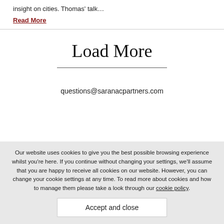insight on cities. Thomas' talk…
Read More
Load More
questions@saranacpartners.com
Our website uses cookies to give you the best possible browsing experience whilst you're here. If you continue without changing your settings, we'll assume that you are happy to receive all cookies on our website. However, you can change your cookie settings at any time. To read more about cookies and how to manage them please take a look through our cookie policy.
Accept and close